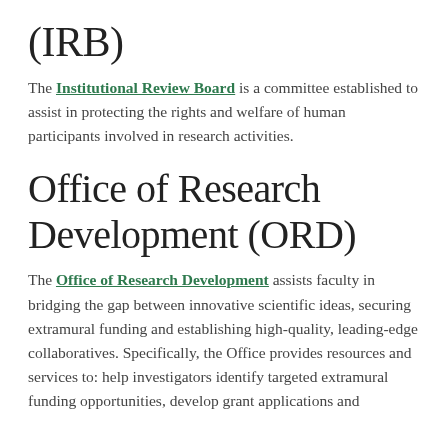(IRB)
The Institutional Review Board is a committee established to assist in protecting the rights and welfare of human participants involved in research activities.
Office of Research Development (ORD)
The Office of Research Development assists faculty in bridging the gap between innovative scientific ideas, securing extramural funding and establishing high-quality, leading-edge collaboratives. Specifically, the Office provides resources and services to: help investigators identify targeted extramural funding opportunities, develop grant applications and